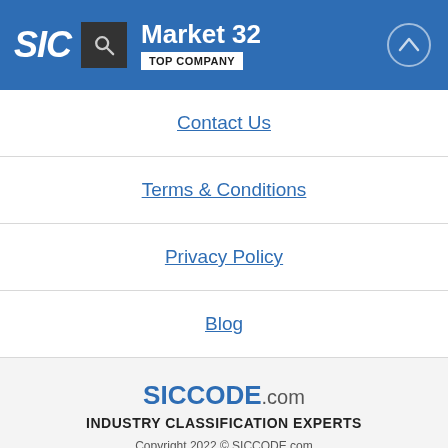SIC | Market 32 | TOP COMPANY
Contact Us
Terms & Conditions
Privacy Policy
Blog
SICCODE.com INDUSTRY CLASSIFICATION EXPERTS Copyright 2022 © SICCODE.com